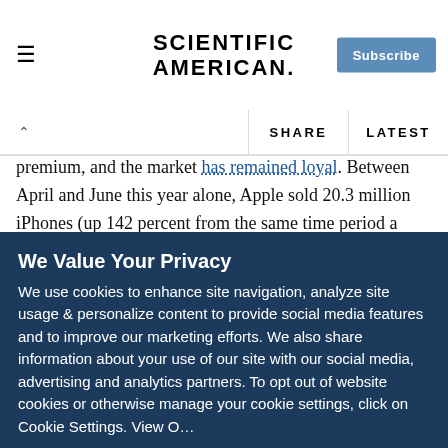Scientific American | Subscribe
SHARE | LATEST
premium, and the market has remained loyal. Between April and June this year alone, Apple sold 20.3 million iPhones (up 142 percent from the same time period a year ago), 9.3 million iPads (up 183 percent), and 7.5 million iPods (actually down 20 percent, although not surprising given that the company has sold more than 314 million of them since 2002).
Whether newly crowned Apple CEO Tim Cook will maintain
We Value Your Privacy
We use cookies to enhance site navigation, analyze site usage & personalize content to provide social media features and to improve our marketing efforts. We also share information about your use of our site with our social media, advertising and analytics partners. To opt out of website cookies or otherwise manage your cookie settings, click on Cookie Settings. View O...